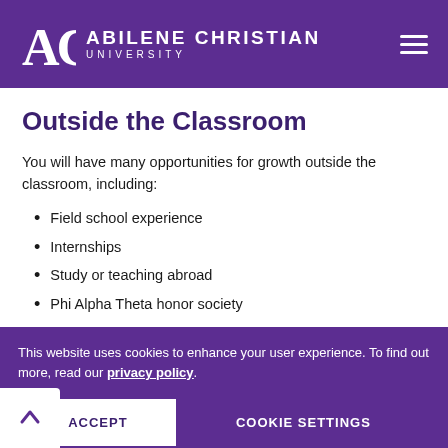Abilene Christian University
Outside the Classroom
You will have many opportunities for growth outside the classroom, including:
Field school experience
Internships
Study or teaching abroad
Phi Alpha Theta honor society
This website uses cookies to enhance your user experience. To find out more, read our privacy policy.
ACCEPT   COOKIE SETTINGS